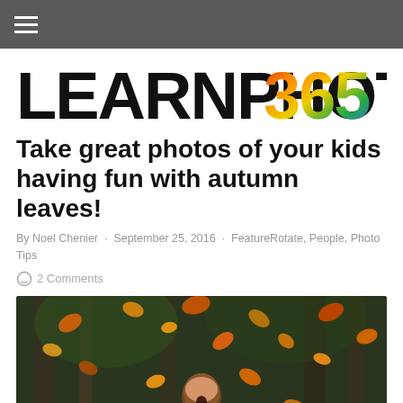≡
[Figure (logo): LearnPhoto 365 logo with colorful mosaic 365 text]
Take great photos of your kids having fun with autumn leaves!
By Noel Chenier · September 25, 2016 · FeatureRotate, People, Photo Tips
○ 2 Comments
[Figure (photo): Child with arms outstretched surrounded by flying autumn leaves in a forest, mouth open wide, wearing a pink shirt]